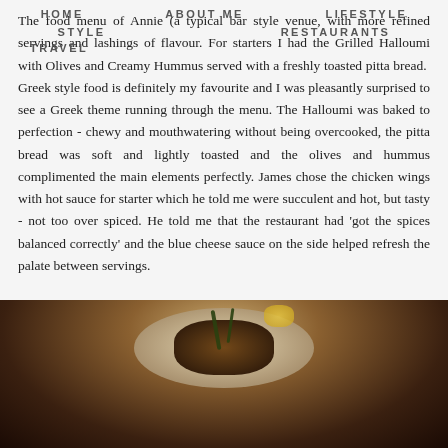HOME   ABOUT ME   LIFESTYLE   STYLE   RESTAURANTS   TRAVEL
The food menu of Annie (a typical bar style venue, with more refined servings and lashings of flavour. For starters I had the Grilled Halloumi with Olives and Creamy Hummus served with a freshly toasted pitta bread. Greek style food is definitely my favourite and I was pleasantly surprised to see a Greek theme running through the menu. The Halloumi was baked to perfection - chewy and mouthwatering without being overcooked, the pitta bread was soft and lightly toasted and the olives and hummus complimented the main elements perfectly. James chose the chicken wings with hot sauce for starter which he told me were succulent and hot, but tasty - not too over spiced. He told me that the restaurant had 'got the spices balanced correctly' and the blue cheese sauce on the side helped refresh the palate between servings.
[Figure (photo): Dark photograph of a restaurant dish on a plate, showing grilled food with garnish (rosemary sprigs) and a lemon wedge, served on a white plate against a dark background.]